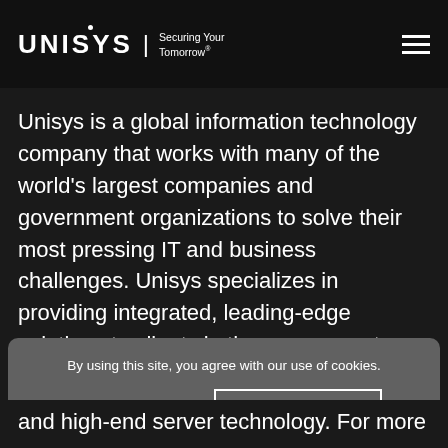UNISYS | Securing Your Tomorrow®
Unisys is a global information technology company that works with many of the world's largest companies and government organizations to solve their most pressing IT and business challenges. Unisys specializes in providing integrated, leading-edge solutions to clients in the government, financial services and
By using this site, you agree with our use of cookies.
Cookie Settings  I ACCEPT COOKIES
and high-end server technology. For more